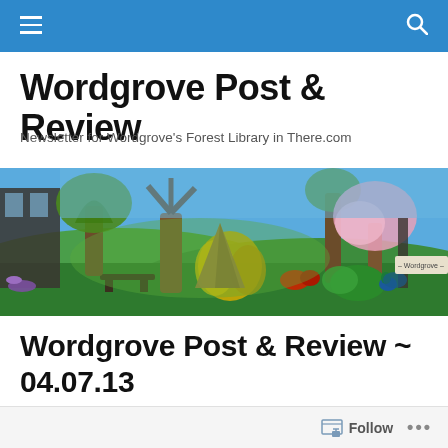Wordgrove Post & Review
Newsletter for Wordgrove's Forest Library in There.com
[Figure (screenshot): A 3D virtual world scene showing a green forest area with trees, colorful flowers (yellow, red, purple), a teepee-like structure, a pink cherry blossom tree, and a peacock. Text label reads '- Wordgrove -'.]
Wordgrove Post & Review ~ 04.07.13
Follow ...